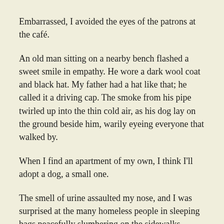Embarrassed, I avoided the eyes of the patrons at the café.
An old man sitting on a nearby bench flashed a sweet smile in empathy. He wore a dark wool coat and black hat. My father had a hat like that; he called it a driving cap. The smoke from his pipe twirled up into the thin cold air, as his dog lay on the ground beside him, warily eyeing everyone that walked by.
When I find an apartment of my own, I think I'll adopt a dog, a small one.
The smell of urine assaulted my nose, and I was surprised at the many homeless people in sleeping bags peacefully slumbering on the sidewalks. People walked past as if they were oblivious; just part life in the city I guess.